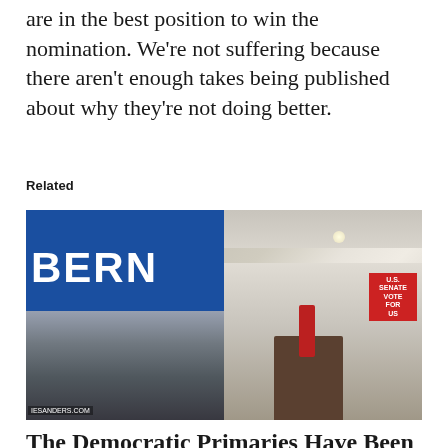are in the best position to win the nomination. We're not suffering because there aren't enough takes being published about why they're not doing better.
Related
[Figure (photo): Side-by-side composite photo: on the left, Bernie Sanders speaking at a campaign rally in front of a blue banner reading 'BERN' and 'FOR PRESIDE[NT]' / 'DERS.' with 'BERNIE SANDERS.COM' at bottom; on the right, Joe Biden speaking at a podium into a microphone, wearing a white shirt and red tie, with a red 'U.S. SENATE' campaign sign visible behind him.]
The Democratic Primaries Have Been